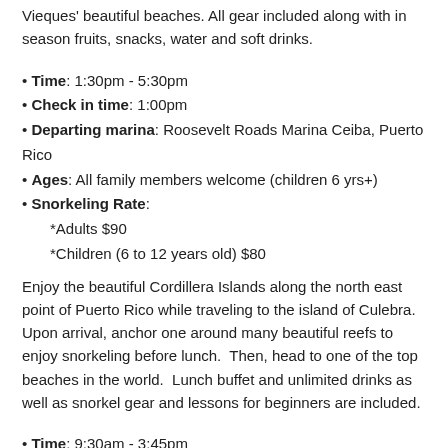Vieques' beautiful beaches. All gear included along with in season fruits, snacks, water and soft drinks.
Time: 1:30pm - 5:30pm
Check in time: 1:00pm
Departing marina: Roosevelt Roads Marina Ceiba, Puerto Rico
Ages: All family members welcome (children 6 yrs+)
Snorkeling Rate: *Adults $90 *Children (6 to 12 years old) $80
Enjoy the beautiful Cordillera Islands along the north east point of Puerto Rico while traveling to the island of Culebra. Upon arrival, anchor one around many beautiful reefs to enjoy snorkeling before lunch. Then, head to one of the top beaches in the world. Lunch buffet and unlimited drinks as well as snorkel gear and lessons for beginners are included.
Time: 9:30am - 3:45pm
Check in time: 9:00am
Departing marina: Puerto Del Rey, Fajardo, Puerto Rico
Ages: All family members welcome